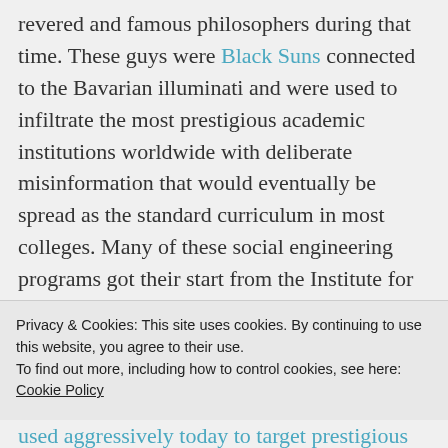revered and famous philosophers during that time. These guys were Black Suns connected to the Bavarian illuminati and were used to infiltrate the most prestigious academic institutions worldwide with deliberate misinformation that would eventually be spread as the standard curriculum in most colleges. Many of these social engineering programs got their start from the Institute for Social Research, Frankfurt School, also known as the
Privacy & Cookies: This site uses cookies. By continuing to use this website, you agree to their use.
To find out more, including how to control cookies, see here: Cookie Policy
Close and accept
used aggressively today to target prestigious